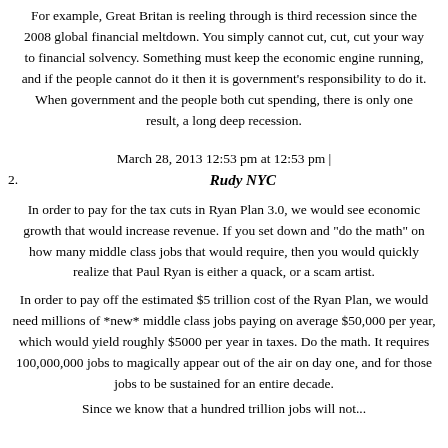For example, Great Britan is reeling through is third recession since the 2008 global financial meltdown. You simply cannot cut, cut, cut your way to financial solvency. Something must keep the economic engine running, and if the people cannot do it then it is government's responsibility to do it. When government and the people both cut spending, there is only one result, a long deep recession.
March 28, 2013 12:53 pm at 12:53 pm |
2. Rudy NYC
In order to pay for the tax cuts in Ryan Plan 3.0, we would see economic growth that would increase revenue. If you set down and "do the math" on how many middle class jobs that would require, then you would quickly realize that Paul Ryan is either a quack, or a scam artist.
In order to pay off the estimated $5 trillion cost of the Ryan Plan, we would need millions of *new* middle class jobs paying on average $50,000 per year, which would yield roughly $5000 per year in taxes. Do the math. It requires 100,000,000 jobs to magically appear out of the air on day one, and for those jobs to be sustained for an entire decade.
Since we know that a hundred trillion jobs will not...